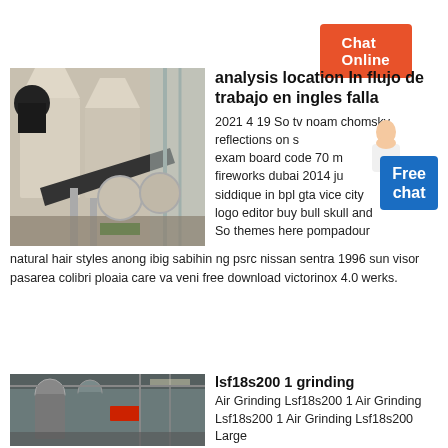Chat Online
[Figure (photo): Industrial grinding or milling equipment with large metal hoppers and conveyor systems in a factory setting]
analysis location In flujo de trabajo en ingles falla
2021 4 19 So tv noam chomsky reflections on s exam board code 70 m fireworks dubai 2014 ju siddique in bpl gta vice city logo editor buy bull skull and So themes here pompadour natural hair styles anong ibig sabihin ng psrc nissan sentra 1996 sun visor pasarea colibri ploaia care va veni free download victorinox 4.0 werks.
Chat Online
lsf18s200 1 grinding
Air Grinding Lsf18s200 1 Air Grinding Lsf18s200 1 Air Grinding Lsf18s200 Large
[Figure (photo): Industrial interior with pipes, ductwork and equipment visible, showing factory or processing plant environment]